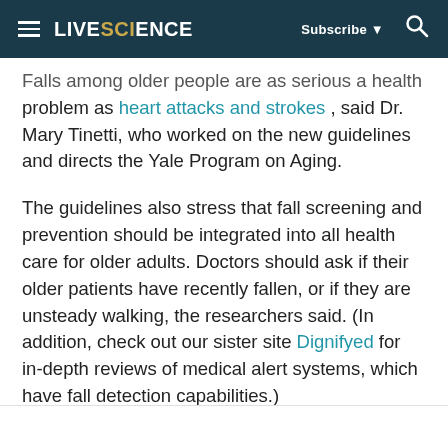LIVESCIENCE   Subscribe   [search]
Falls among older people are as serious a health problem as heart attacks and strokes , said Dr. Mary Tinetti, who worked on the new guidelines and directs the Yale Program on Aging.
The guidelines also stress that fall screening and prevention should be integrated into all health care for older adults. Doctors should ask if their older patients have recently fallen, or if they are unsteady walking, the researchers said. (In addition, check out our sister site Dignifyed for in-depth reviews of medical alert systems, which have fall detection capabilities.)